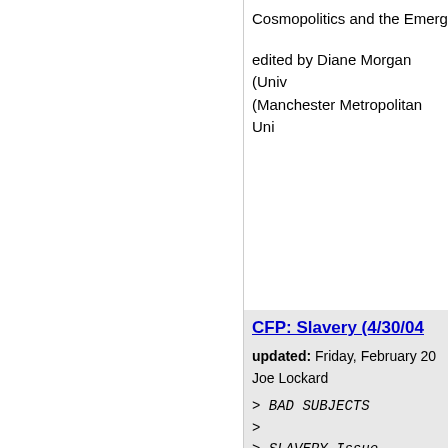Cosmopolitics and the Emerg
edited by Diane Morgan (Univ (Manchester Metropolitan Uni
CFP: Slavery (4/30/04
updated: Friday, February 20
Joe Lockard
> BAD SUBJECTS
>
> SLAVERY Issue
> Call for Essays
>
> In 1853, concerning liberal
> ignored its own oppression.
> wage slavery directly with a
> southern states. "The ener